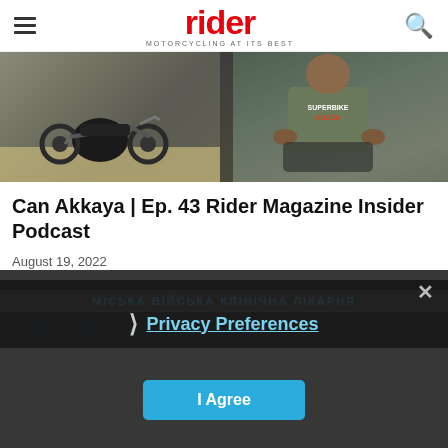rider — MOTORCYCLING AT ITS BEST
[Figure (photo): Hero image split: left side shows a motorcycle on track, right side shows a person in a Superbike Coach shirt seated]
Can Akkaya | Ep. 43 Rider Magazine Insider Podcast
August 19, 2022
[Figure (photo): Partial image of a building with Cyrillic text banner, darkened by modal overlay]
Privacy Preferences
I Agree